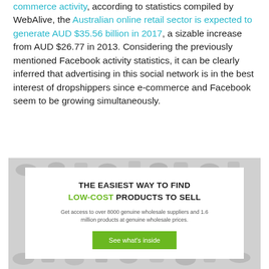commerce activity, according to statistics compiled by WebAlive, the Australian online retail sector is expected to generate AUD $35.56 billion in 2017, a sizable increase from AUD $26.77 in 2013. Considering the previously mentioned Facebook activity statistics, it can be clearly inferred that advertising in this social network is in the best interest of dropshippers since e-commerce and Facebook seem to be growing simultaneously.
[Figure (infographic): Advertisement banner: 'The easiest way to find low-cost products to sell. Get access to over 8000 genuine wholesale suppliers and 1.6 million products at genuine wholesale prices.' with a green 'See what's inside' button. Background has a pattern of grey illustrated consumer goods icons.]